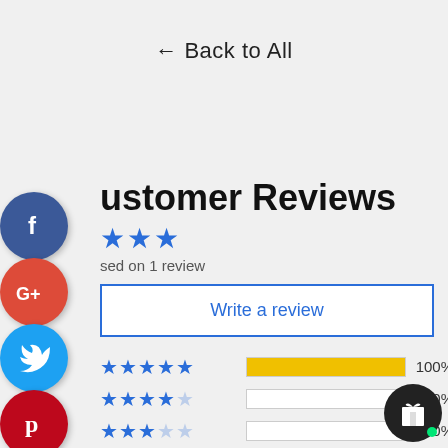← Back to All
Customer Reviews
★★★ (3 stars average)
based on 1 review
Write a review
| Stars | Bar | Percent | Count |
| --- | --- | --- | --- |
| ★★★★★ | 100% | 100% | (1) |
| ★★★★☆ |  | 0% | (0) |
| ★★★☆☆ |  | 0% | (0) |
| ★★☆☆☆ |  | 0% | (0) |
[Figure (logo): Facebook social share button - dark blue circle with white f]
[Figure (logo): Google+ social share button - red circle with G+]
[Figure (logo): Twitter social share button - blue circle with bird]
[Figure (logo): Pinterest social share button - red circle with P]
[Figure (logo): Gift/reward button - black circle with gift icon and green dot]